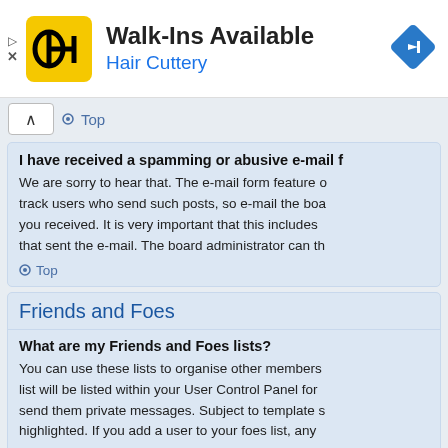[Figure (infographic): Hair Cuttery advertisement banner: HC logo in yellow square, text 'Walk-Ins Available' and 'Hair Cuttery' in blue, navigation arrow diamond icon on right]
Top
I have received a spamming or abusive e-mail f
We are sorry to hear that. The e-mail form feature o
track users who send such posts, so e-mail the boa
you received. It is very important that this includes
that sent the e-mail. The board administrator can th
Top
Friends and Foes
What are my Friends and Foes lists?
You can use these lists to organise other members
list will be listed within your User Control Panel for
send them private messages. Subject to template s
highlighted. If you add a user to your foes list, any
Top